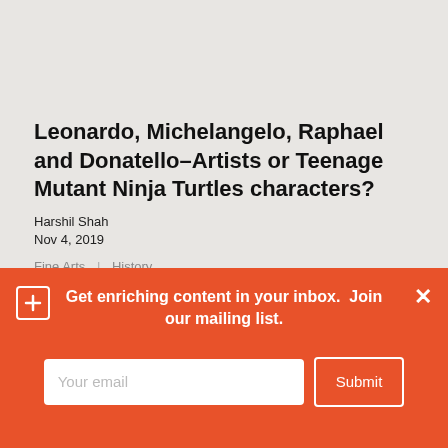Leonardo, Michelangelo, Raphael and Donatello–Artists or Teenage Mutant Ninja Turtles characters?
Harshil Shah
Nov 4, 2019
Fine Arts  |  History
Did you ever wonder where the Teenage Mutant Ninja Turtles' characters got their names from? Well, your search is complete. Here is a brief introduction of the artists from whom the creators of TMNT took
Get enriching content in your inbox.  Join our mailing list.